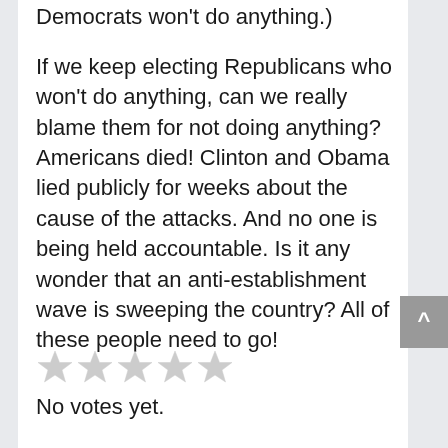Democrats won't do anything.)
If we keep electing Republicans who won't do anything, can we really blame them for not doing anything? Americans died! Clinton and Obama lied publicly for weeks about the cause of the attacks. And no one is being held accountable. Is it any wonder that an anti-establishment wave is sweeping the country? All of these people need to go!
[Figure (other): Five empty/unrated star icons in a row]
No votes yet.